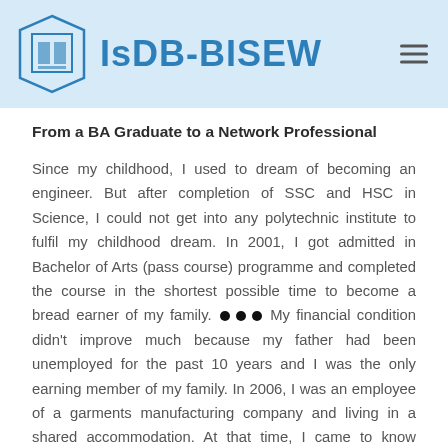IsDB-BISEW
From a BA Graduate to a Network Professional
Since my childhood, I used to dream of becoming an engineer. But after completion of SSC and HSC in Science, I could not get into any polytechnic institute to fulfil my childhood dream. In 2001, I got admitted in Bachelor of Arts (pass course) programme and completed the course in the shortest possible time to become a bread earner of my family. My financial condition didn't improve much because my father had been unemployed for the past 10 years and I was the only earning member of my family. In 2006, I was an employee of a garments manufacturing company and living in a shared accommodation. At that time, I came to know about IDB-BISEW IT Scholarship Program from one of my roommates. I applied for the scholarship and was finally selected. From the very first day, I was devoted to my course and successfully completed the Diploma in Networking Technologies.